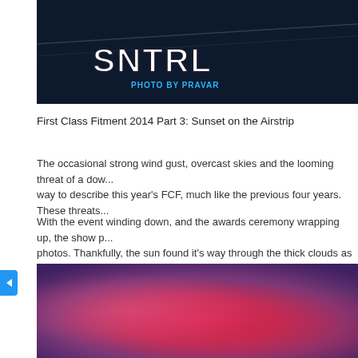[Figure (photo): Dark blue car side panel with SNTRL logo in white block letters and 'PHOTO BY PRAVAR' text in blue below it]
First Class Fitment 2014 Part 3: Sunset on the Airstrip
The occasional strong wind gust, overcast skies and the looming threat of a dow... way to describe this year's FCF, much like the previous four years. These threats...
With the event winding down, and the awards ceremony wrapping up, the show p... photos. Thankfully, the sun found it's way through the thick clouds as it began to s...
[Figure (photo): Blurred sunset photo with vivid pink, red, and purple colors blending together]